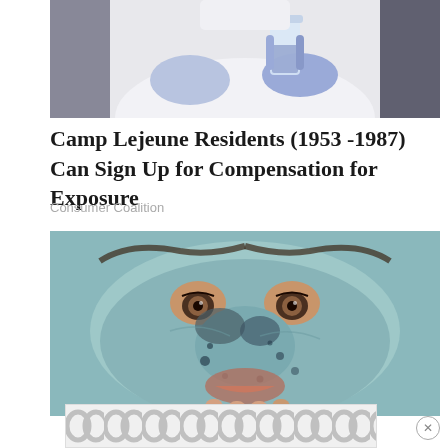[Figure (photo): Photo of a person in white lab coat and blue gloves holding a glass beaker with liquid, representing scientific or chemical exposure testing.]
Camp Lejeune Residents (1953 -1987) Can Sign Up for Compensation for Exposure
Consumer Coalition
[Figure (photo): Close-up photo of a person's face covered in a blue-grey clay or charcoal face mask with dark spots, looking directly at camera.]
[Figure (other): Advertisement banner with repeating circular pattern in grey and white.]